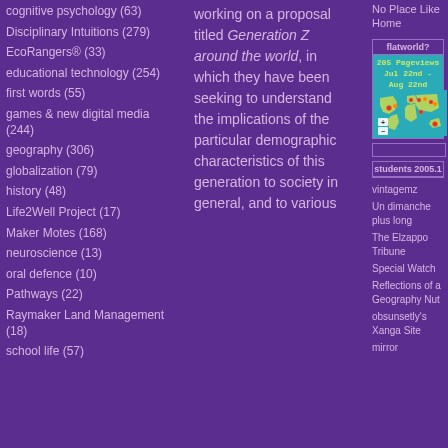cognitive psychology (63)
Disciplinary Intuitions (279)
EcoRangers® (33)
educational technology (254)
first words (55)
games & new digital media (244)
geography (306)
globalization (79)
history (48)
Life2Well Project (17)
Maker Motes (168)
neuroscience (13)
oral defence (10)
Pathways (22)
Raymaker Land Management (18)
school life (57)
working on a proposal titled Generation Z around the world, in which they have been seeking to understand the implications of the particular demographic characteristics of this generation to society in general, and to various
No Place Like Home
[Figure (other): flatworld? widget box with world map showing 205 Pageviews Jul 22nd - Aug 22nd, teal/turquoise background with yellow-green continents and red/orange location markers]
students 2005.1
vintagemz
Un dimanche plus long
The Elzappo Tribune
Special Watch
Reflections of a Geography Nut
obsunsetly's Xanga Site
mirror